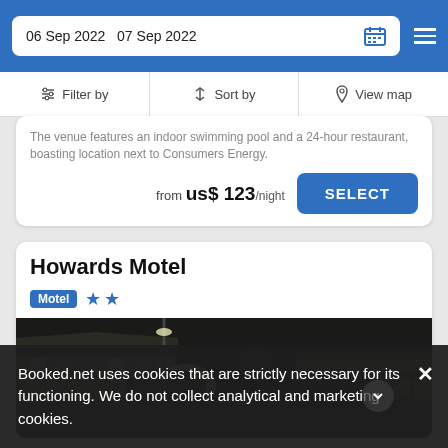06 Sep 2022  07 Sep 2022
Filter by  Sort by  View map
The venue features an indoor swimming pool and a 24-hour restaurant, boasting location next to Consumers Energy.
from us$ 123/night
Howards Motel
Motel ★★
[Figure (photo): Night-time photo of Howards Motel parking lot with cars and motel building visible]
Booked.net uses cookies that are strictly necessary for its functioning. We do not collect analytical and marketing cookies.